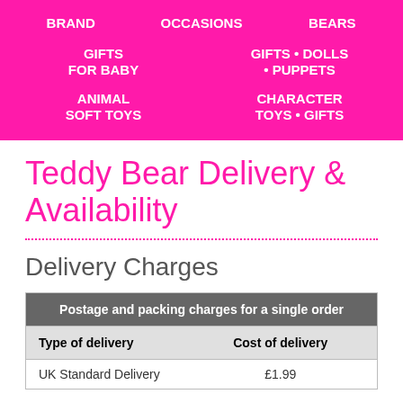BRAND   OCCASIONS   BEARS
GIFTS FOR BABY   GIFTS • DOLLS • PUPPETS
ANIMAL SOFT TOYS   CHARACTER TOYS • GIFTS
Teddy Bear Delivery & Availability
Delivery Charges
| Postage and packing charges for a single order |
| --- |
| Type of delivery | Cost of delivery |
| UK Standard Delivery | £1.99 |